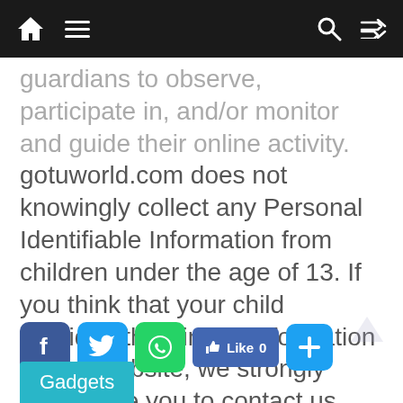Navigation bar with home, menu, search, and share icons
guardians to observe, participate in, and/or monitor and guide their online activity. gotuworld.com does not knowingly collect any Personal Identifiable Information from children under the age of 13. If you think that your child provided this kind of information on our website, we strongly encourage you to contact us immediately and we will do our best efforts to promptly remove such information from our records.
[Figure (other): Social sharing buttons: Facebook, Twitter, WhatsApp, Like 0, and a blue plus button]
Gadgets